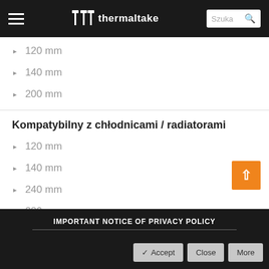thermaltake — navigation header with hamburger menu and search
120 mm
140 mm
200 mm
Kompatybilny z chłodnicami / radiatorami
120 mm
140 mm
240 mm
280 mm
IMPORTANT NOTICE OF PRIVACY POLICY — Accept | Close | More